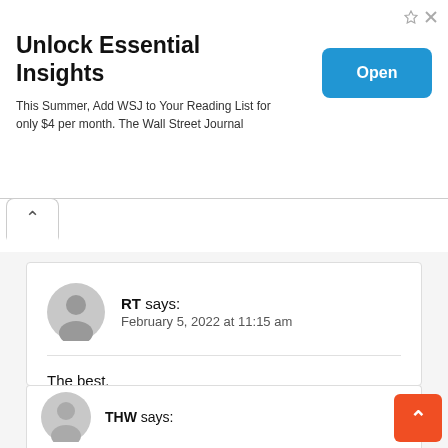[Figure (screenshot): Advertisement banner: 'Unlock Essential Insights' with WSJ subscription offer and blue Open button]
RT says:
February 5, 2022 at 11:15 am
The best.
Loading...
Reply
THW says: